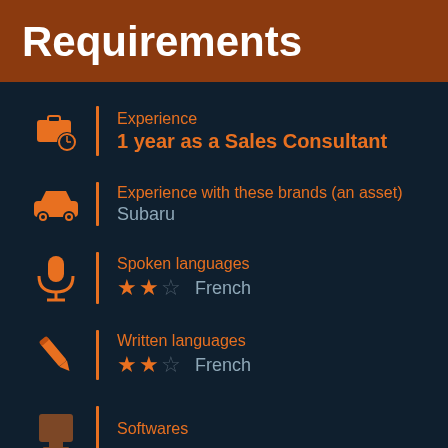Requirements
Experience: 1 year as a Sales Consultant
Experience with these brands (an asset): Subaru
Spoken languages: ★★☆ French
Written languages: ★★☆ French
Softwares